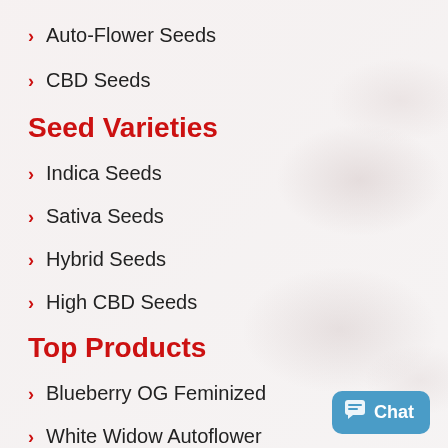Auto-Flower Seeds
CBD Seeds
Seed Varieties
Indica Seeds
Sativa Seeds
Hybrid Seeds
High CBD Seeds
Top Products
Blueberry OG Feminized
White Widow Autoflower